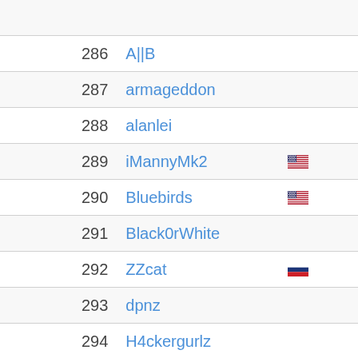| Rank | Username | Flag |
| --- | --- | --- |
| 286 | A||B |  |
| 287 | armageddon |  |
| 288 | alanlei |  |
| 289 | iMannyMk2 | US |
| 290 | Bluebirds | US |
| 291 | Black0rWhite |  |
| 292 | ZZcat | RU |
| 293 | dpnz |  |
| 294 | H4ckergurlz |  |
| 295 | 3musketeers |  |
| 296 | 0xFF |  |
| 297 | matwieczorek |  |